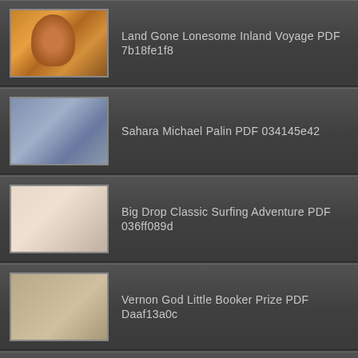Land Gone Lonesome Inland Voyage PDF 7b18fe1f8
Sahara Michael Palin PDF 034145e42
Big Drop Classic Surfing Adventure PDF 036ff089d
Vernon God Little Booker Prize PDF Daaf13a0c
Survival Hydration Manual Labrador Outdoor PDF Ac6a0a614